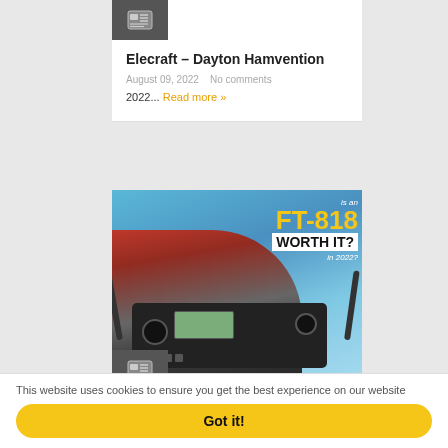[Figure (screenshot): Thumbnail icon for Elecraft Dayton Hamvention article]
Elecraft – Dayton Hamvention
August 09, 2022   No comments
2022...  Read more »
[Figure (photo): FT-818 radio being held, with overlay text 'is an FT-818 WORTH IT? in 2022?']
Is an FT-818 worth it in
This website uses cookies to ensure you get the best experience on our website
Got it!